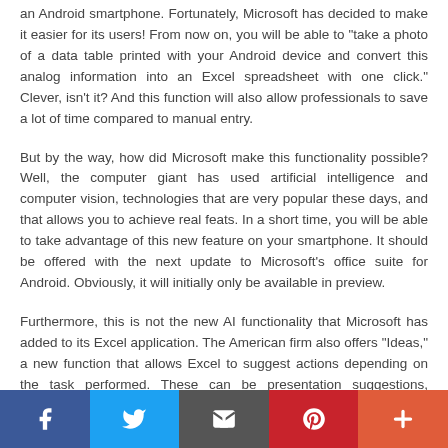an Android smartphone. Fortunately, Microsoft has decided to make it easier for its users! From now on, you will be able to "take a photo of a data table printed with your Android device and convert this analog information into an Excel spreadsheet with one click." Clever, isn't it? And this function will also allow professionals to save a lot of time compared to manual entry.
But by the way, how did Microsoft make this functionality possible? Well, the computer giant has used artificial intelligence and computer vision, technologies that are very popular these days, and that allows you to achieve real feats. In a short time, you will be able to take advantage of this new feature on your smartphone. It should be offered with the next update to Microsoft's office suite for Android. Obviously, it will initially only be available in preview.
Furthermore, this is not the new AI functionality that Microsoft has added to its Excel application. The American firm also offers "Ideas," a new function that allows Excel to suggest actions depending on the task performed. These can be presentation suggestions, spreadsheets, or even document production. A novelty which is also very interesting for professionals.
Social share bar: Facebook, Twitter, Email, Pinterest, More